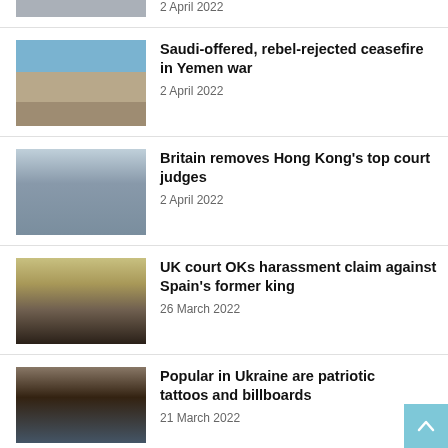[Figure (photo): Partial thumbnail of first news item (cropped at top)]
2 April 2022
[Figure (photo): Aerial view of city streets in Yemen]
Saudi-offered, rebel-rejected ceasefire in Yemen war
2 April 2022
[Figure (photo): Street view with classical building and modern skyscrapers in Hong Kong]
Britain removes Hong Kong's top court judges
2 April 2022
[Figure (photo): Elderly man waving, Spain's former king Juan Carlos]
UK court OKs harassment claim against Spain's former king
26 March 2022
[Figure (photo): Close-up of arm with tattoo, Ukraine patriotic imagery]
Popular in Ukraine are patriotic tattoos and billboards
21 March 2022